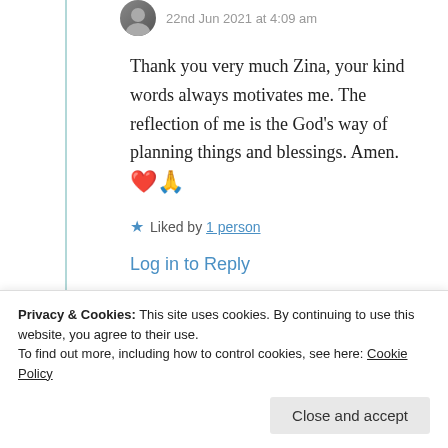22nd Jun 2021 at 4:09 am
Thank you very much Zina, your kind words always motivates me. The reflection of me is the God’s way of planning things and blessings. Amen. ❤️🙏
★ Liked by 1 person
Log in to Reply
Privacy & Cookies: This site uses cookies. By continuing to use this website, you agree to their use.
To find out more, including how to control cookies, see here: Cookie Policy
Close and accept
4:22 am